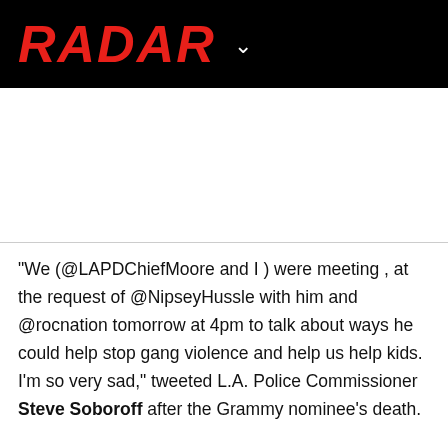RADAR
"We (@LAPDChiefMoore and I ) were meeting , at the request of @NipseyHussle with him and @rocnation tomorrow at 4pm to talk about ways he could help stop gang violence and help us help kids. I'm so very sad," tweeted L.A. Police Commissioner Steve Soboroff after the Grammy nominee's death.
Nipsey was shot multiple times. He was given CPR on the scene and rushed to a nearby hospital, where he was pronounced